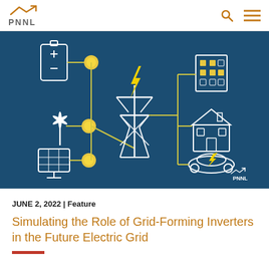PNNL
[Figure (infographic): Infographic on dark blue background showing an electrical grid system with interconnected energy sources (battery, wind turbine, solar panels) connected via yellow glowing nodes to a central power transmission tower with lightning bolt, which distributes power to consumers (building, house, electric vehicle). PNNL logo in bottom right corner.]
JUNE 2, 2022 | Feature
Simulating the Role of Grid-Forming Inverters in the Future Electric Grid